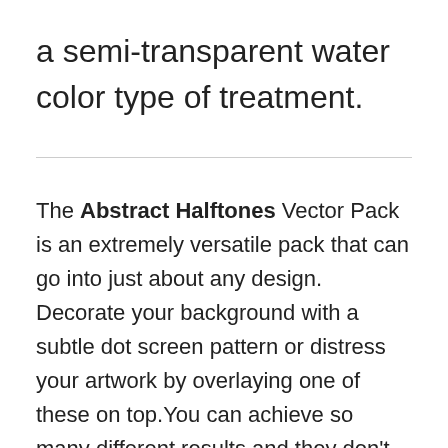a semi-transparent water color type of treatment.
The Abstract Halftones Vector Pack is an extremely versatile pack that can go into just about any design. Decorate your background with a subtle dot screen pattern or distress your artwork by overlaying one of these on top.You can achieve so many different results and they don't take away from your artwork. Great vector textures that are only one color. Mix them with each other in different colors